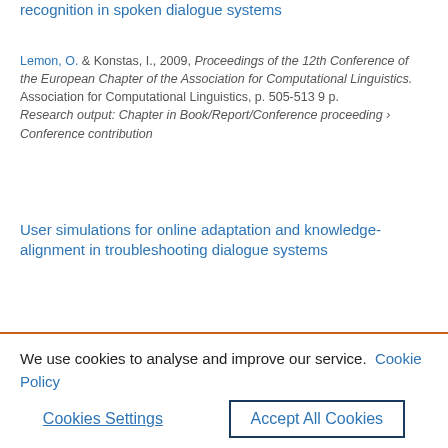recognition in spoken dialogue systems
Lemon, O. & Konstas, I., 2009, Proceedings of the 12th Conference of the European Chapter of the Association for Computational Linguistics. Association for Computational Linguistics, p. 505-513 9 p.
Research output: Chapter in Book/Report/Conference proceeding › Conference contribution
User simulations for online adaptation and knowledge-alignment in troubleshooting dialogue systems
We use cookies to analyse and improve our service. Cookie Policy
Cookies Settings
Accept All Cookies